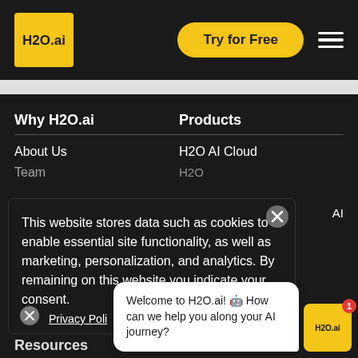H2O.ai — Try for Free — menu
Why H2O.ai
Products
About Us
Team
H2O AI Cloud
H2O
This website stores data such as cookies to enable essential site functionality, as well as marketing, personalization, and analytics. By remaining on this website you indicate your consent.
Privacy Policy
Welcome to H2O.ai! 🤖 How can we help you along your AI journey?
Resources